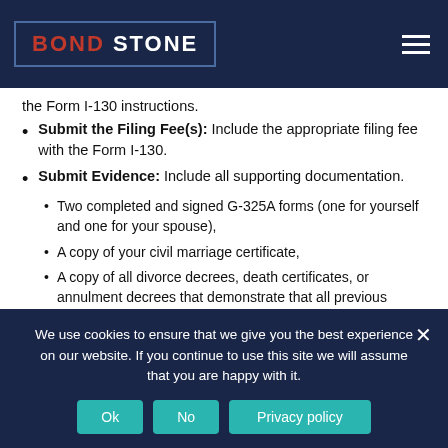BOND STONE
the Form I-130 instructions.
Submit the Filing Fee(s): Include the appropriate filing fee with the Form I-130.
Submit Evidence: Include all supporting documentation.
Two completed and signed G-325A forms (one for yourself and one for your spouse),
A copy of your civil marriage certificate,
A copy of all divorce decrees, death certificates, or annulment decrees that demonstrate that all previous marriages entered into by you and/or your spouse were terminated,
Passport-style photos of you and your spouse, and
We use cookies to ensure that we give you the best experience on our website. If you continue to use this site we will assume that you are happy with it.